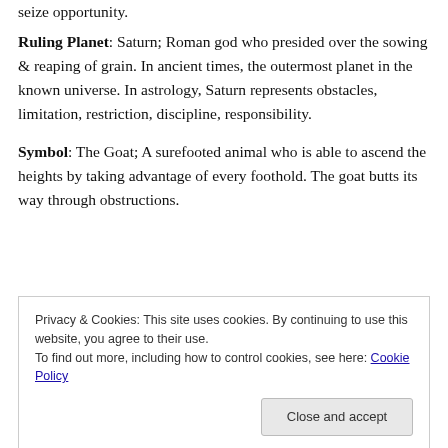seize opportunity.
Ruling Planet: Saturn; Roman god who presided over the sowing & reaping of grain. In ancient times, the outermost planet in the known universe. In astrology, Saturn represents obstacles, limitation, restriction, discipline, responsibility.
Symbol: The Goat; A surefooted animal who is able to ascend the heights by taking advantage of every foothold. The goat butts its way through obstructions.
[Figure (photo): Partial image strip visible behind cookie banner]
Privacy & Cookies: This site uses cookies. By continuing to use this website, you agree to their use.
To find out more, including how to control cookies, see here: Cookie Policy
Close and accept